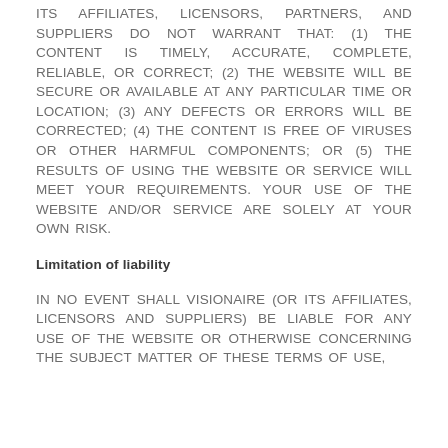ITS AFFILIATES, LICENSORS, PARTNERS, AND SUPPLIERS DO NOT WARRANT THAT: (1) THE CONTENT IS TIMELY, ACCURATE, COMPLETE, RELIABLE, OR CORRECT; (2) THE WEBSITE WILL BE SECURE OR AVAILABLE AT ANY PARTICULAR TIME OR LOCATION; (3) ANY DEFECTS OR ERRORS WILL BE CORRECTED; (4) THE CONTENT IS FREE OF VIRUSES OR OTHER HARMFUL COMPONENTS; OR (5) THE RESULTS OF USING THE WEBSITE OR SERVICE WILL MEET YOUR REQUIREMENTS. YOUR USE OF THE WEBSITE AND/OR SERVICE ARE SOLELY AT YOUR OWN RISK.
Limitation of liability
IN NO EVENT SHALL VISIONAIRE (OR ITS AFFILIATES, LICENSORS AND SUPPLIERS) BE LIABLE FOR ANY USE OF THE WEBSITE OR OTHERWISE CONCERNING THE SUBJECT MATTER OF THESE TERMS OF USE,